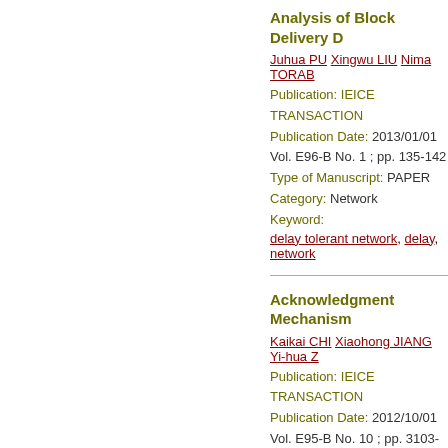Analysis of Block Delivery D
Juhua PU  Xingwu LIU  Nima TORAB
Publication:   IEICE TRANSACTION
Publication Date: 2013/01/01
Vol. E96-B  No. 1 ; pp. 135-142
Type of Manuscript:  PAPER
Category: Network
Keyword:
delay tolerant network, delay, network
Acknowledgment Mechanism
Kaikai CHI  Xiaohong JIANG  Yi-hua Z
Publication:   IEICE TRANSACTION
Publication Date: 2012/10/01
Vol. E95-B  No. 10 ; pp. 3103-3112
Type of Manuscript:  PAPER
Category: Fundamental Theories for C
Keyword:
wireless networks, network coding, rel
Opportunistic Scheduling fo